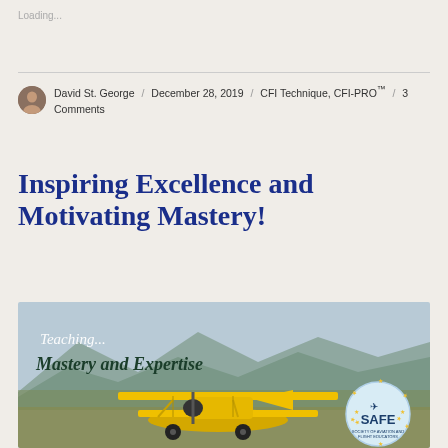Loading...
David St. George / December 28, 2019 / CFI Technique, CFI-PRO™ / 3 Comments
Inspiring Excellence and Motivating Mastery!
[Figure (photo): A yellow biplane on the ground with mountains in background, overlaid with italic white text 'Teaching... Mastery and Expertise' and a SAFE (Society of Aviation and Flight Educators) badge/logo in the bottom right corner]